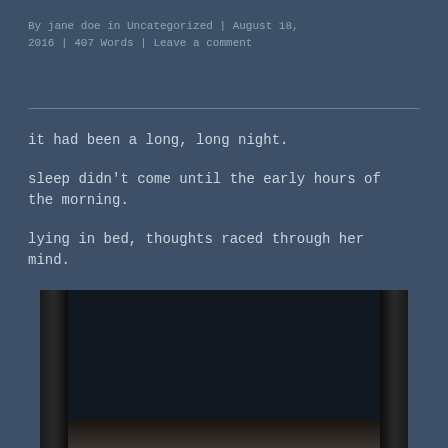By jane doe in Uncategorized | August 18, 2016 | 407 Words | Leave a comment
it had been a long, long night.
sleep didn’t come until the early hours of the morning.
lying in bed, thoughts raced through her mind.
[Figure (photo): Dark photograph of a bedroom scene, showing what appears to be a bed with dark curtains or fabric on either side, dimly lit interior]